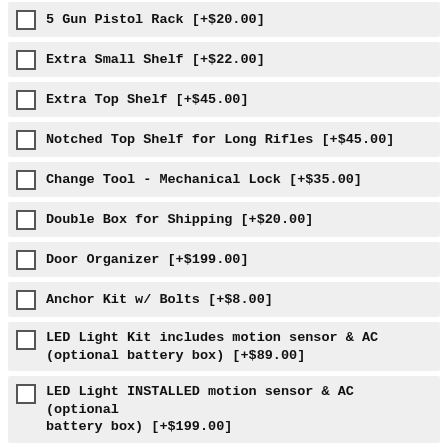5 Gun Pistol Rack [+$20.00]
Extra Small Shelf [+$22.00]
Extra Top Shelf [+$45.00]
Notched Top Shelf for Long Rifles [+$45.00]
Change Tool - Mechanical Lock [+$35.00]
Double Box for Shipping [+$20.00]
Door Organizer [+$199.00]
Anchor Kit w/ Bolts [+$8.00]
LED Light Kit includes motion sensor & AC (optional battery box) [+$89.00]
LED Light INSTALLED motion sensor & AC (optional battery box) [+$199.00]